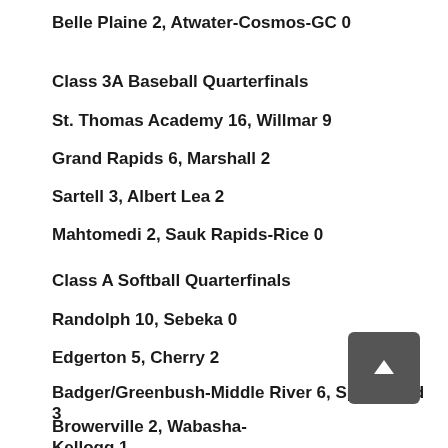Belle Plaine 2, Atwater-Cosmos-GC 0
Class 3A Baseball Quarterfinals
St. Thomas Academy 16, Willmar 9
Grand Rapids 6, Marshall 2
Sartell 3, Albert Lea 2
Mahtomedi 2, Sauk Rapids-Rice 0
Class A Softball Quarterfinals
Randolph 10, Sebeka 0
Edgerton 5, Cherry 2
Badger/Greenbush-Middle River 6, Springfield 3
Browerville 2, Wabasha-Kellogg 1
Semifinals